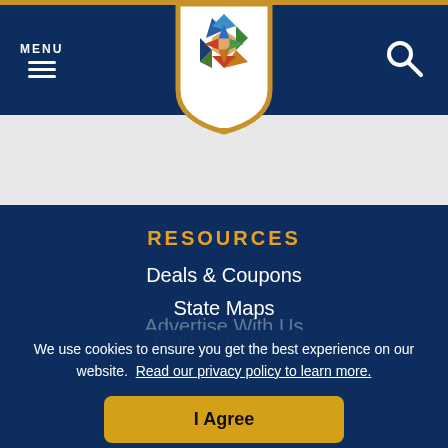MENU
[Figure (logo): Colorful star/pinwheel logo made of arrow-like shapes in blue, green, orange and red colors, inside a white shield badge with gold border]
RESOURCES
Deals & Coupons
State Maps
Tourism Industry
Advertise With Us
Trip Planner
We use cookies to ensure you get the best experience on our website. Read our privacy policy to learn more.
I Agree